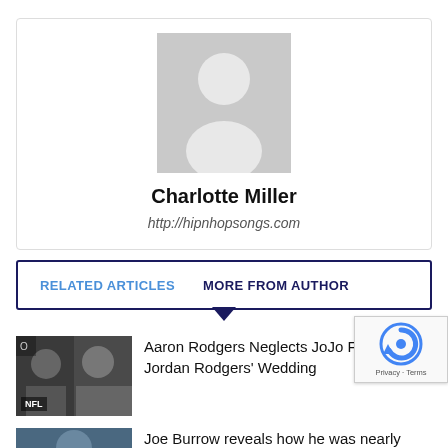[Figure (photo): Author profile card with placeholder avatar silhouette, name Charlotte Miller, and website URL]
Charlotte Miller
http://hipnhopsongs.com
RELATED ARTICLES   MORE FROM AUTHOR
[Figure (photo): Photo of two men; tagged NFL. Article about Aaron Rodgers Neglects JoJo Fletcher and Jordan Rodgers' Wedding]
Aaron Rodgers Neglects JoJo Fletcher and Jordan Rodgers' Wedding
[Figure (photo): Partial photo of a person's face. Article about Joe Burrow reveals how he was nearly...]
Joe Burrow reveals how he was nearly